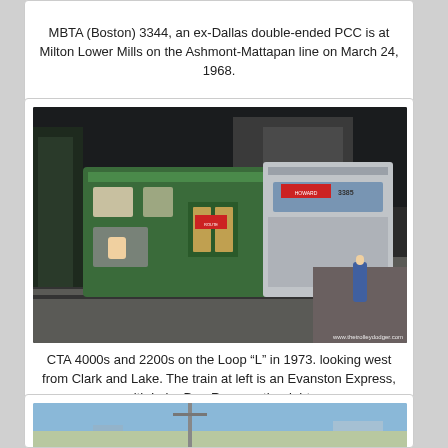MBTA (Boston) 3344, an ex-Dallas double-ended PCC is at Milton Lower Mills on the Ashmont-Mattapan line on March 24, 1968.
[Figure (photo): CTA 4000s and 2200s on the Loop elevated train tracks in 1973. A green train is on the left (Evanston Express) and a silver train is on the right (Lake-Dan Ryan). Station platform visible. Watermark: www.thetrolleydodger.com]
CTA 4000s and 2200s on the Loop “L” in 1973. looking west from Clark and Lake. The train at left is an Evanston Express, with Lake-Dan Ryan on the right.
[Figure (photo): Partial view of another train photograph at bottom of page, mostly cropped.]